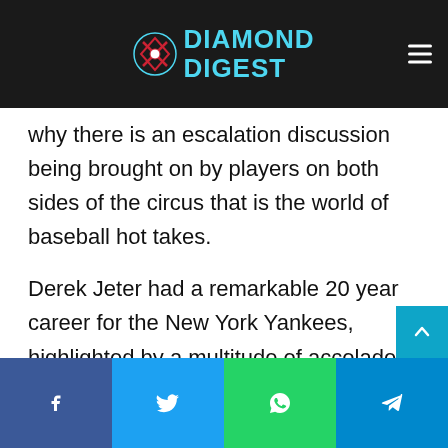Diamond Digest
why there is an escalation discussion being brought on by players on both sides of the circus that is the world of baseball hot takes.
Derek Jeter had a remarkable 20 year career for the New York Yankees, highlighted by a multitude of accolades and World Series championships. The 1996 American League Rookie of the Year was the face of Major League Baseball as the captain of the last true dynasty the sport has seen. Jeter led the Yankees to five World Series championships and holds a handful of career postseason records, some o
Facebook | Twitter | WhatsApp | Telegram